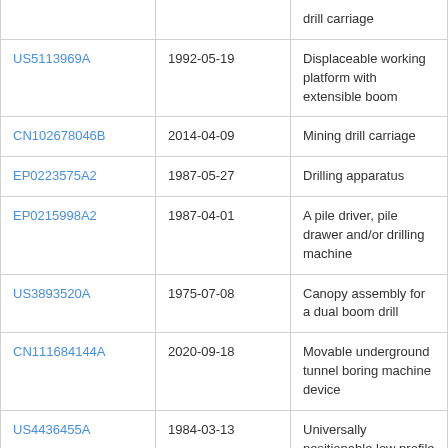| Patent ID | Date | Description |
| --- | --- | --- |
|  |  | drill carriage |
| US5113969A | 1992-05-19 | Displaceable working platform with extensible boom |
| CN102678046B | 2014-04-09 | Mining drill carriage |
| EP0223575A2 | 1987-05-27 | Drilling apparatus |
| EP0215998A2 | 1987-04-01 | A pile driver, pile drawer and/or drilling machine |
| US3893520A | 1975-07-08 | Canopy assembly for a dual boom drill |
| CN111684144A | 2020-09-18 | Movable underground tunnel boring machine device |
| US4436455A | 1984-03-13 | Universally positionable low profile mine drilling machine and method |
| JP5686649B2 | 2015-03-18 | Ultra-low head drilling device, kelly rod used for the drill, its drilling |